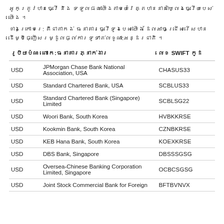អូកត្រូវបានធ្វើ និង ទទួលផល់យើងតាមយេរ៉ែគ្តបាននាគាឃ្លែងធ្វើយបេស់យើង ។
ខាងក្រោមរេ: គីជាតាកង់ ធនាគារធ្វើទូងបេស់យើង  ដែលអាចជ្រើសរើសបាន ដើម្បីផ្ញើសរម្ដូលផ្ល់ការទូទាត់លខូណា:អន្ដរជាតិ ។
| រូបិយបំណ | លោក:ធនាគារភ្នាក់ងារ | លេខ SWIFT កូដ |
| --- | --- | --- |
| USD | JPMorgan Chase Bank National Association, USA | CHASUS33 |
| USD | Standard Chartered Bank, USA | SCBLUS33 |
| USD | Standard Chartered Bank (Singapore) Limited | SCBLSG22 |
| USD | Woori Bank, South Korea | HVBKKRSE |
| USD | Kookmin Bank, South Korea | CZNBKRSE |
| USD | KEB Hana Bank, South Korea | KOEXKRSE |
| USD | DBS Bank, Singapore | DBSSSGSG |
| USD | Oversea-Chinese Banking Corporation Limited, Singapore | OCBCSGSG |
| USD | Joint Stock Commercial Bank for Foreign... | BFTBVNVX |